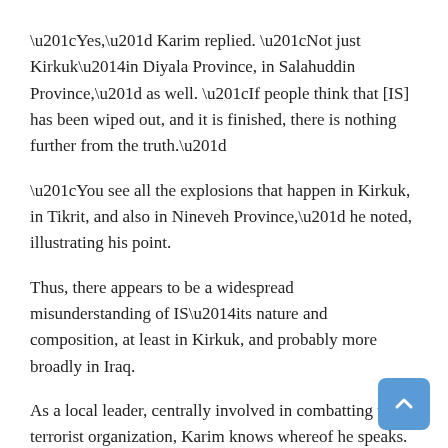“Yes,” Karim replied. “Not just Kirkuk—in Diyala Province, in Salahuddin Province,” as well. “If people think that [IS] has been wiped out, and it is finished, there is nothing further from the truth.”
“You see all the explosions that happen in Kirkuk, in Tikrit, and also in Nineveh Province,” he noted, illustrating his point.
Thus, there appears to be a widespread misunderstanding of IS—its nature and composition, at least in Kirkuk, and probably more broadly in Iraq.
As a local leader, centrally involved in combatting the terrorist organization, Karim knows whereof he speaks. “99 percent [of IS in Kirkuk] are local people from Kirkuk,” he said.
“People need to understand that before [IS], there was terrorism—in Baghdad, in Kirkuk, in Ramadi, in Fallujah, in Mosul. In all of these places, there were terrorists.”
“Who were these terrorists?” Karim continued. “They were al-Qaeda,